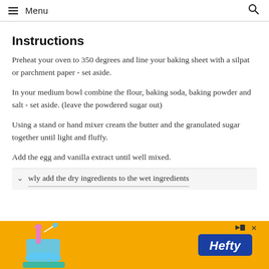Menu
Instructions
Preheat your oven to 350 degrees and line your baking sheet with a silpat or parchment paper - set aside.
In your medium bowl combine the flour, baking soda, baking powder and salt - set aside. (leave the powdered sugar out)
Using a stand or hand mixer cream the butter and the granulated sugar together until light and fluffy.
Add the egg and vanilla extract until well mixed.
wly add the dry ingredients to the wet ingredients
[Figure (other): Hefty advertisement banner with orange background showing a mixer and Hefty logo]